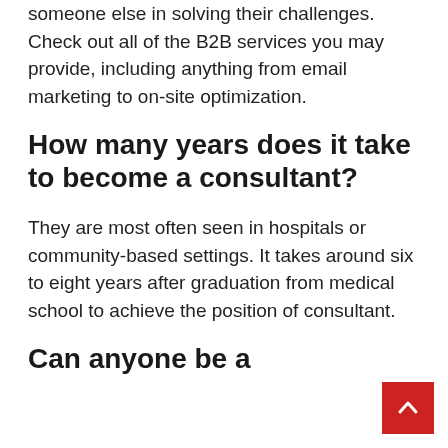Check out all of the B2B services you may provide, including anything from email marketing to on-site optimization.
How many years does it take to become a consultant?
They are most often seen in hospitals or community-based settings. It takes around six to eight years after graduation from medical school to achieve the position of consultant.
Can anyone be a